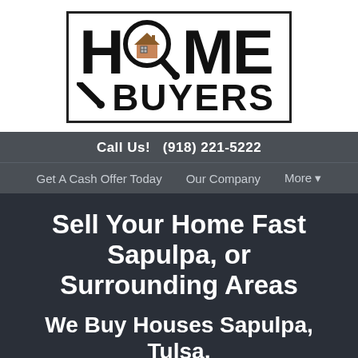[Figure (logo): Home Buyers logo with magnifying glass containing a house icon, bold black lettering spelling HOME BUYERS in a bordered box]
Call Us!   (918) 221-5222
Get A Cash Offer Today   Our Company   More ▾
Sell Your Home Fast Sapulpa, or Surrounding Areas
We Buy Houses Sapulpa, Tulsa, OKC, & Statewide throughout Oklahoma
No Fees. No Commissions. More Cash In Your Pocket.